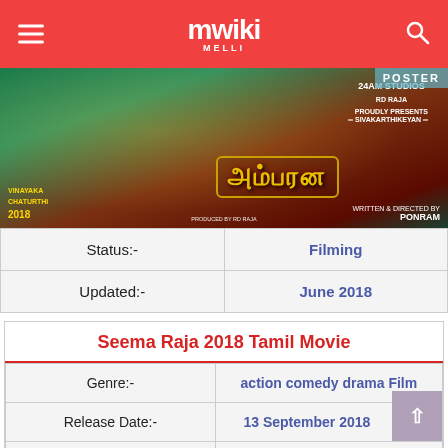Mwiki
[Figure (photo): Movie poster for Seema Raja 2018 Tamil film showing a person on a rearing horse with golden Tamil text logo, produced by 24AM Studios, written and directed by Ponram. Bottom left shows Vinayaka Chaturthi 2018.]
| Status:- | Filming |
| Updated:- | June 2018 |
Seema Raja 2018 Tamil Movie
| Genre:- | action comedy drama Film |
| Release Date:- | 13 September 2018 |
| Budget:- | N/A |